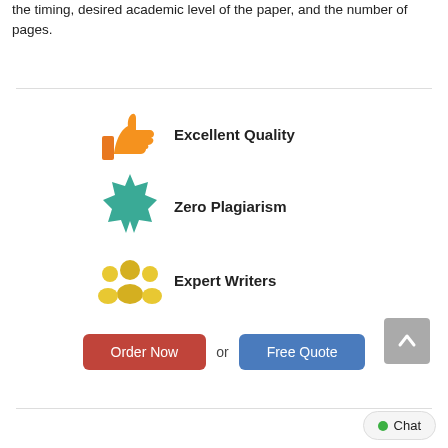the timing, desired academic level of the paper, and the number of pages.
[Figure (infographic): Three icons with labels: thumbs up (orange) for Excellent Quality, badge/seal (teal) for Zero Plagiarism, group of people (yellow) for Expert Writers]
Excellent Quality
Zero Plagiarism
Expert Writers
Order Now or Free Quote
[Figure (other): Chat button with green dot in bottom right corner]